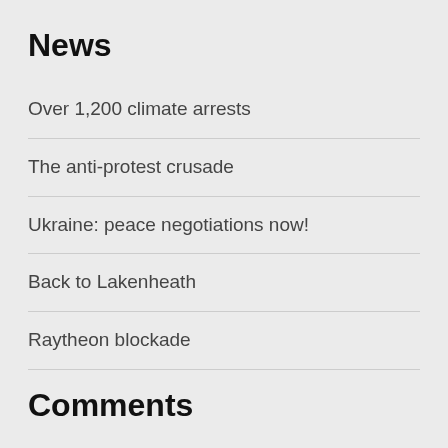News
Over 1,200 climate arrests
The anti-protest crusade
Ukraine: peace negotiations now!
Back to Lakenheath
Raytheon blockade
Comments
Lifting the lid, a little
Beyond the barricades